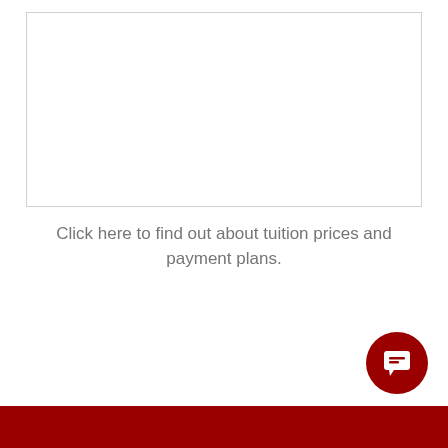[Figure (other): White rectangular image placeholder with light gray border]
Click here to find out about tuition prices and payment plans.
CLICK HERE ▶
[Figure (other): Dark red circular chat/message bubble icon in bottom right corner]